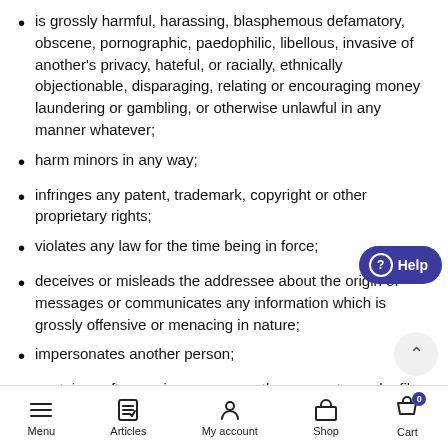is grossly harmful, harassing, blasphemous defamatory, obscene, pornographic, paedophilic, libellous, invasive of another's privacy, hateful, or racially, ethnically objectionable, disparaging, relating or encouraging money laundering or gambling, or otherwise unlawful in any manner whatever;
harm minors in any way;
infringes any patent, trademark, copyright or other proprietary rights;
violates any law for the time being in force;
deceives or misleads the addressee about the origin of messages or communicates any information which is grossly offensive or menacing in nature;
impersonates another person;
contains software viruses or any other computer code, files programs designed to interrupt, destroy or limit the
Menu  Articles  My account  Shop  Cart